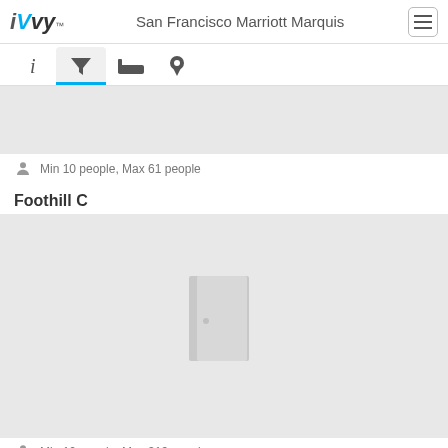iVvy - San Francisco Marriott Marquis
[Figure (screenshot): Navigation tab bar with info, filter (active/selected with blue underline), bed, and location pin icons]
[Figure (photo): Gray placeholder image showing a door icon for a venue room]
Min 10 people, Max 61 people
Foothill C
[Figure (photo): Gray placeholder image showing a door icon for Foothill C venue room]
Min 10 people, Max 319 people